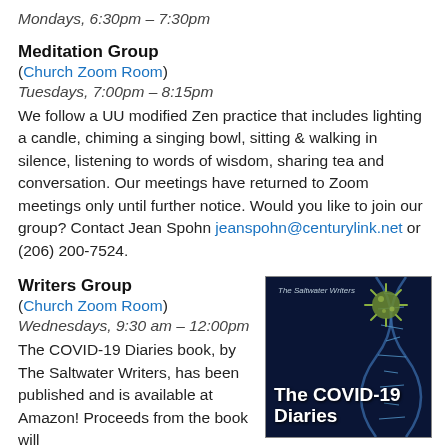Mondays, 6:30pm – 7:30pm
Meditation Group
(Church Zoom Room)
Tuesdays, 7:00pm – 8:15pm
We follow a UU modified Zen practice that includes lighting a candle, chiming a singing bowl, sitting & walking in silence, listening to words of wisdom, sharing tea and conversation. Our meetings have returned to Zoom meetings only until further notice. Would you like to join our group? Contact Jean Spohn jeanspohn@centurylink.net or (206) 200-7524.
Writers Group
(Church Zoom Room)
Wednesdays, 9:30 am – 12:00pm
The COVID-19 Diaries book, by The Saltwater Writers, has been published and is available at Amazon! Proceeds from the book will
[Figure (photo): Book cover for 'The COVID-19 Diaries' by The Saltwater Writers, dark blue background with virus/DNA imagery]